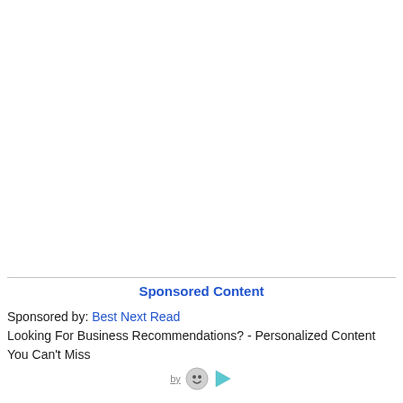Sponsored Content
Sponsored by: Best Next Read
Looking For Business Recommendations? - Personalized Content You Can't Miss
by